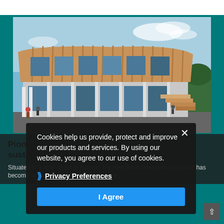[Figure (photo): Exterior photograph of Torvbråten primary school in Norway — a modern two-storey building with curved wooden facade cladding, large glass windows, white structural columns, and an external staircase, set against a blue sky.]
Pioneering school puts sustainability first
Situated in a rural forest in Norway, the new Torvbråten primary school has become Norway's first school to achieve...
Cookies help us provide, protect and improve our products and services. By using our website, you agree to our use of cookies.
Privacy Preferences
I Agree